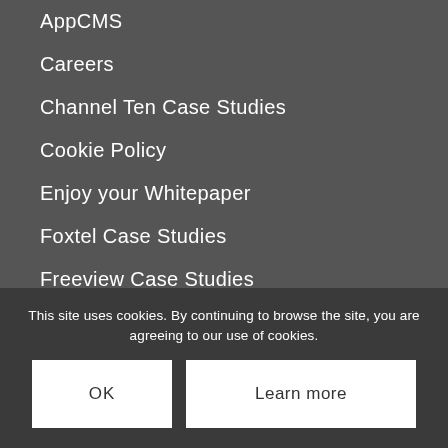AppCMS
Careers
Channel Ten Case Studies
Cookie Policy
Enjoy your Whitepaper
Foxtel Case Studies
Freeview Case Studies
Homepage – Switch Media
Live2VOD
LiveStreaming
Lost password
Media Manager
MediaHQ
MediaHQ Lite
No Access
Partners
Privacy Policy
This site uses cookies. By continuing to browse the site, you are agreeing to our use of cookies.
OK
Learn more